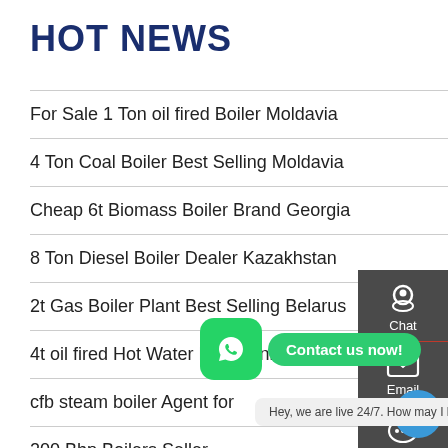HOT NEWS
For Sale 1 Ton oil fired Boiler Moldavia
4 Ton Coal Boiler Best Selling Moldavia
Cheap 6t Biomass Boiler Brand Georgia
8 Ton Diesel Boiler Dealer Kazakhstan
2t Gas Boiler Plant Best Selling Belarus
4t oil fired Hot Water Boiler ... ania
cfb steam boiler Agent for ...
200 Bhp Boilers Seller
2 Ton gas fired Boiler Industrial Dealer
[Figure (screenshot): Right-side dark sidebar with Chat, Email, Contact icons. WhatsApp green button with 'Contact us now!' bubble. Live chat message: 'Hey, we are live 24/7. How may I help you?' Blue chat bubble bottom right.]